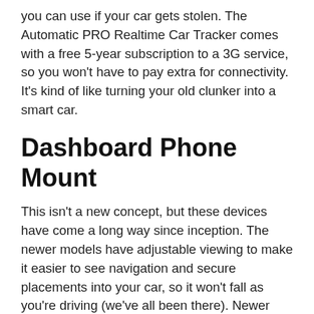you can use if your car gets stolen. The Automatic PRO Realtime Car Tracker comes with a free 5-year subscription to a 3G service, so you won't have to pay extra for connectivity.  It's kind of like turning your old clunker into a smart car.
Dashboard Phone Mount
This isn't a new concept, but these devices have come a long way since inception. The newer models have adjustable viewing to make it easier to see navigation and secure placements into your car, so it won't fall as you're driving (we've all been there). Newer cars like the new 2019 Atlas have tech features like Android Auto or Apple CarPlay, but this gadget is ideal for the older models. You don't necessarily have to upgrade your car to be able to avoid those smartphone navigation